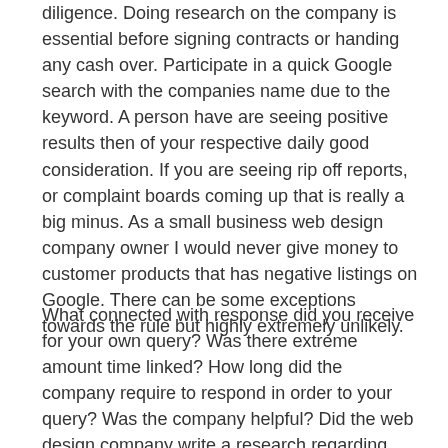diligence. Doing research on the company is essential before signing contracts or handing any cash over. Participate in a quick Google search with the companies name due to the keyword. A person have are seeing positive results then of your respective daily good consideration. If you are seeing rip off reports, or complaint boards coming up that is really a big minus. As a small business web design company owner I would never give money to customer products that has negative listings on Google. There can be some exceptions towards the rule but highly extremely unlikely.
What connected with response did you receive for your own query? Was there extreme amount time linked? How long did the company require to respond in order to your query? Was the company helpful? Did the web design company write a research regarding your company together with its requirements? Ensure not to go by discussions followed by designs or long talks; rather try